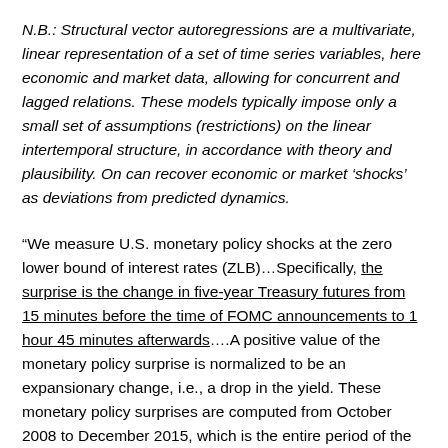N.B.: Structural vector autoregressions are a multivariate, linear representation of a set of time series variables, here economic and market data, allowing for concurrent and lagged relations. These models typically impose only a small set of assumptions (restrictions) on the linear intertemporal structure, in accordance with theory and plausibility. On can recover economic or market 'shocks' as deviations from predicted dynamics.
“We measure U.S. monetary policy shocks at the zero lower bound of interest rates (ZLB)…Specifically, the surprise is the change in five-year Treasury futures from 15 minutes before the time of FOMC announcements to 1 hour 45 minutes afterwards….A positive value of the monetary policy surprise is normalized to be an expansionary change, i.e., a drop in the yield. These monetary policy surprises are computed from October 2008 to December 2015, which is the entire period of the ZLB in the U.S.”